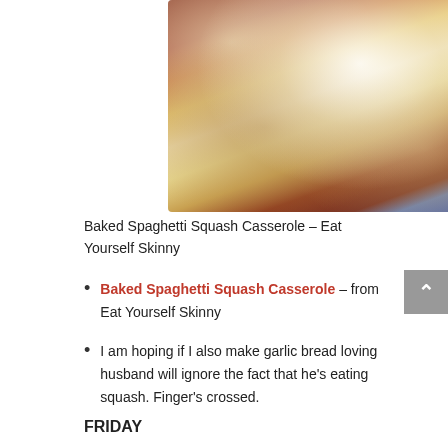[Figure (photo): Photo of a baked spaghetti squash casserole in a white baking dish with melted cheese and fresh basil on top, sitting on a blue striped cloth on a dark surface.]
Baked Spaghetti Squash Casserole – Eat Yourself Skinny
Baked Spaghetti Squash Casserole – from Eat Yourself Skinny
I am hoping if I also make garlic bread loving husband will ignore the fact that he's eating squash. Finger's crossed.
FRIDAY